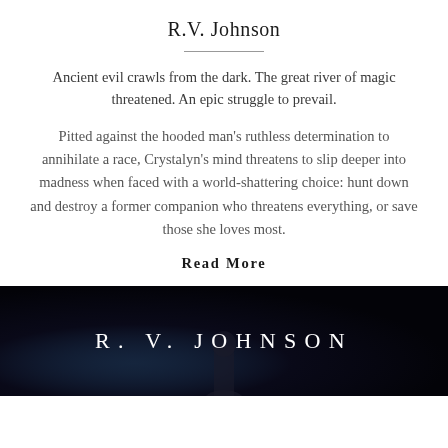R.V. Johnson
Ancient evil crawls from the dark. The great river of magic threatened. An epic struggle to prevail.
Pitted against the hooded man’s ruthless determination to annihilate a race, Crystalyn’s mind threatens to slip deeper into madness when faced with a world-shattering choice: hunt down and destroy a former companion who threatens everything, or save those she loves most.
Read More
[Figure (photo): Dark book cover or banner image with the text R. V. JOHNSON in large spaced white letters on a dark background with a shadowy figure.]